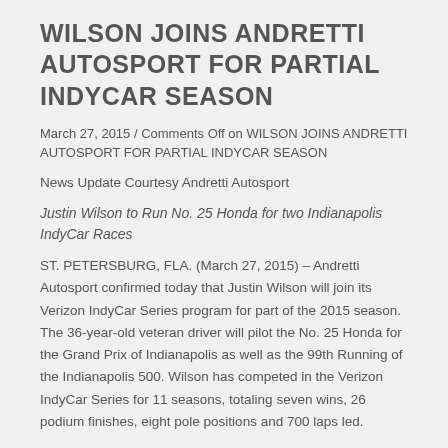WILSON JOINS ANDRETTI AUTOSPORT FOR PARTIAL INDYCAR SEASON
March 27, 2015 / Comments Off on WILSON JOINS ANDRETTI AUTOSPORT FOR PARTIAL INDYCAR SEASON
News Update Courtesy Andretti Autosport
Justin Wilson to Run No. 25 Honda for two Indianapolis IndyCar Races
ST. PETERSBURG, FLA. (March 27, 2015) – Andretti Autosport confirmed today that Justin Wilson will join its Verizon IndyCar Series program for part of the 2015 season. The 36-year-old veteran driver will pilot the No. 25 Honda for the Grand Prix of Indianapolis as well as the 99th Running of the Indianapolis 500. Wilson has competed in the Verizon IndyCar Series for 11 seasons, totaling seven wins, 26 podium finishes, eight pole positions and 700 laps led.